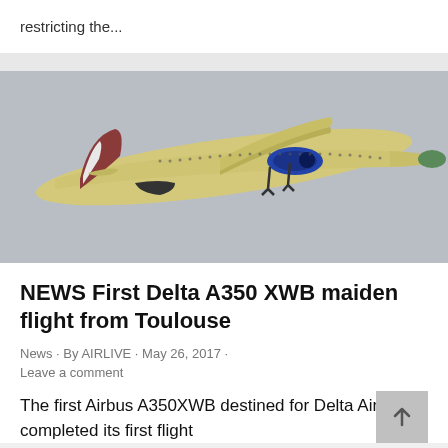restricting the...
[Figure (photo): Airbus A350 XWB aircraft in yellow primer livery with green tail tip and blue engine, flying against a grey overcast sky, viewed from below-side angle during maiden flight from Toulouse.]
NEWS First Delta A350 XWB maiden flight from Toulouse
News · By AIRLIVE · May 26, 2017 · Leave a comment
The first Airbus A350XWB destined for Delta Air Lines completed its first flight